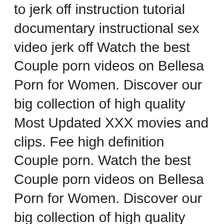to jerk off instruction tutorial documentary instructional sex video jerk off Watch the best Couple porn videos on Bellesa Porn for Women. Discover our big collection of high quality Most Updated XXX movies and clips. Fee high definition Couple porn. Watch the best Couple porn videos on Bellesa Porn for Women. Discover our big collection of high quality Most Updated XXX movies and clips. Fee high definition Couple porn. Porn Videos. Bellesa Films Cams Erotic Stories Sex
10/09/2019B B· If you want to learn the best ways to be a pornstar-level lover, you can find instructional sex videos at PornMD. Featuring clips that can teach